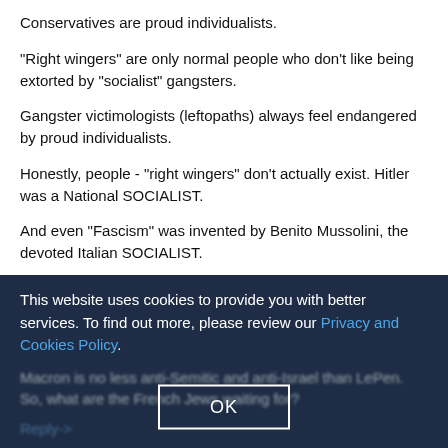Conservatives are proud individualists.
"Right wingers" are only normal people who don't like being extorted by "socialist" gangsters.
Gangster victimologists (leftopaths) always feel endangered by proud individualists.
Honestly, people - "right wingers" don't actually exist. Hitler was a National SOCIALIST.
And even "Fascism" was invented by Benito Mussolini, the devoted Italian SOCIALIST.
So, what's a "right winger?" It's any normal person who wakes up enough to take a bit of time off from minding their own businesses to temporarily band together to vote to not be extorted any more by group-might-makes-rights-worshiping "socialist" gangster criminals.
Reply->
This website uses cookies to provide you with better services. To find out more, please review our Privacy and Cookies Policy.
Macron is no less anti-Semitic and anti-Israel than LePen. So, what are the French Jews waiting for?
Reply->